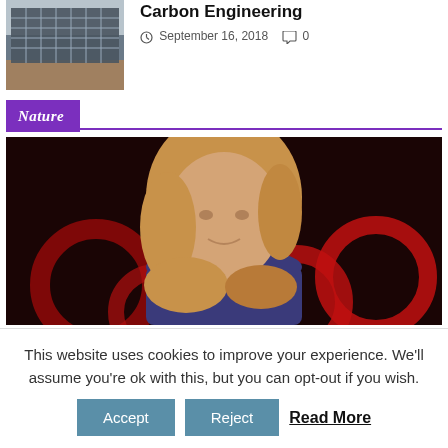[Figure (photo): Thumbnail image of industrial carbon engineering facility with grid-like structures]
Carbon Engineering
September 16, 2018   0
Nature
[Figure (photo): Woman with long blonde hair in a blue sleeveless dress speaking on a dark stage with red circular lighting elements in the background]
This website uses cookies to improve your experience. We'll assume you're ok with this, but you can opt-out if you wish.
Accept   Reject   Read More